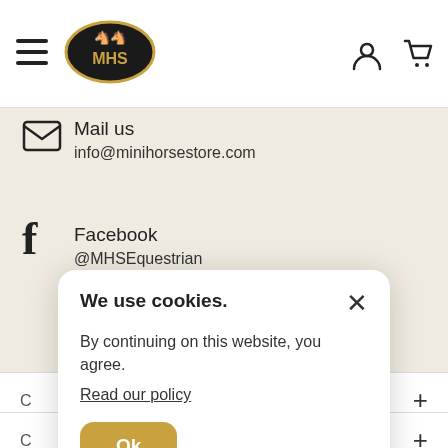[Figure (logo): MHS logo - oval black/gold with two horses and MHS text]
Mail us
info@minihorsestore.com
Facebook
@MHSEquestrian
We use cookies.
By continuing on this website, you agree.
Read our policy
Ok